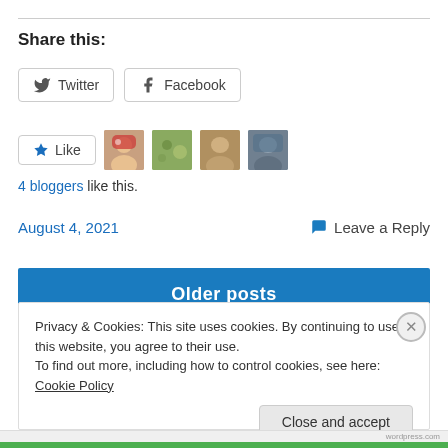Share this:
Twitter
Facebook
4 bloggers like this.
August 4, 2021
Leave a Reply
Older posts
Privacy & Cookies: This site uses cookies. By continuing to use this website, you agree to their use.
To find out more, including how to control cookies, see here: Cookie Policy
Close and accept